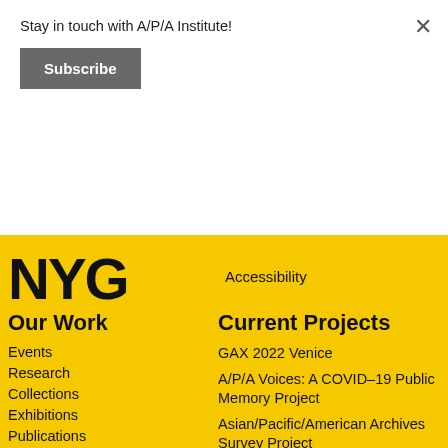Stay in touch with A/P/A Institute!
Subscribe
×
NYC
Accessibility
Our Work
Events
Research
Collections
Exhibitions
Publications
Current Projects
GAX 2022 Venice
A/P/A Voices: A COVID–19 Public Memory Project
Asian/Pacific/American Archives Survey Project
Virtual Asian American Art Museum (VAAAM)